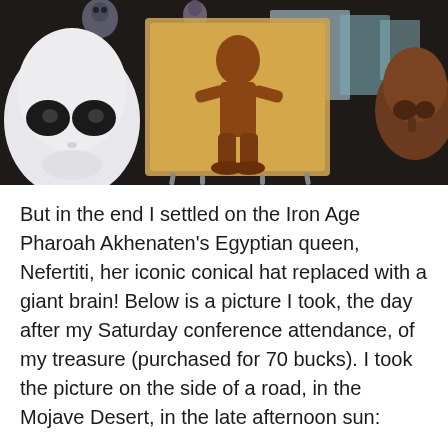[Figure (photo): Photo of novelty figurines/sculptures on a dark surface: a white alien head sculpture on the left, a brown relief tile in the center depicting a bigfoot-like figure, and a dark bronze-colored sculptural head on the right, with other items partially visible in the background.]
But in the end I settled on the Iron Age Pharoah Akhenaten's Egyptian queen, Nefertiti, her iconic conical hat replaced with a giant brain! Below is a picture I took, the day after my Saturday conference attendance, of my treasure (purchased for 70 bucks). I took the picture on the side of a road, in the Mojave Desert, in the late afternoon sun: